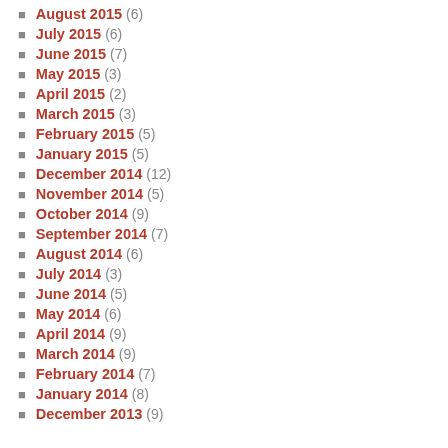August 2015 (6)
July 2015 (6)
June 2015 (7)
May 2015 (3)
April 2015 (2)
March 2015 (3)
February 2015 (5)
January 2015 (5)
December 2014 (12)
November 2014 (5)
October 2014 (9)
September 2014 (7)
August 2014 (6)
July 2014 (3)
June 2014 (5)
May 2014 (6)
April 2014 (9)
March 2014 (9)
February 2014 (7)
January 2014 (8)
December 2013 (9)